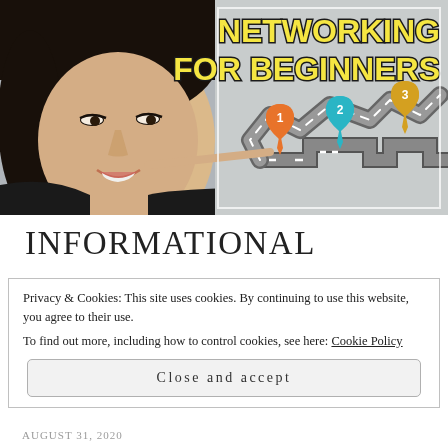[Figure (photo): Thumbnail image of a smiling young Asian woman with dark hair wearing a black shirt, pointing to a road map infographic with numbered location pins (1, 2, 3) and zigzag road path. Title text reads 'NETWORKING FOR BEGINNERS' in bold yellow letters with black outline.]
INFORMATIONAL
Privacy & Cookies: This site uses cookies. By continuing to use this website, you agree to their use.
To find out more, including how to control cookies, see here: Cookie Policy
Close and accept
AUGUST 31, 2020